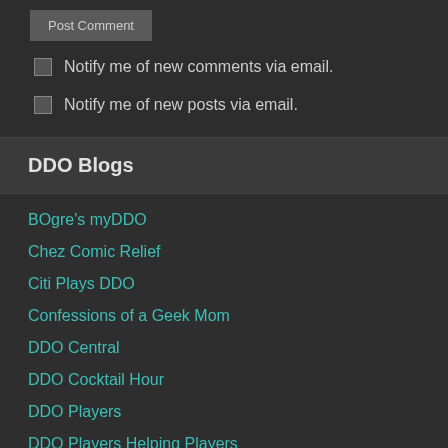Post Comment
Notify me of new comments via email.
Notify me of new posts via email.
DDO Blogs
BOgre's myDDO
Chez Comic Relief
Citi Plays DDO
Confessions of a Geek Mom
DDO Central
DDO Cocktail Hour
DDO Players
DDO Players Helping Players
DDO Savant
ddoradzax